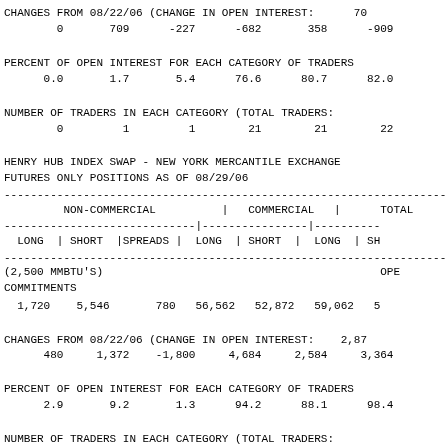CHANGES FROM 08/22/06 (CHANGE IN OPEN INTEREST:       70
        0       709      -227      -682       358      -909
PERCENT OF OPEN INTEREST FOR EACH CATEGORY OF TRADERS
      0.0       1.7       5.4      76.6      80.7      82.0
NUMBER OF TRADERS IN EACH CATEGORY (TOTAL TRADERS:
        0         1         1        21        21        22
HENRY HUB INDEX SWAP - NEW YORK MERCANTILE EXCHANGE
FUTURES ONLY POSITIONS AS OF 08/29/06
| NON-COMMERCIAL | COMMERCIAL | TOTAL |
| --- | --- | --- |
| LONG | SHORT |SPREADS | LONG | SHORT | LONG | SH |
| (2,500 MMBTU'S)                                    OPEN |
| COMMITMENTS |
| 1,720    5,546        780   56,562   52,872   59,062   5 |
CHANGES FROM 08/22/06 (CHANGE IN OPEN INTEREST:     2,87
      480     1,372    -1,800     4,684     2,584     3,364
PERCENT OF OPEN INTEREST FOR EACH CATEGORY OF TRADERS
      2.9       9.2       1.3      94.2      88.1      98.4
NUMBER OF TRADERS IN EACH CATEGORY (TOTAL TRADERS:
        4         3         2        15        19        20